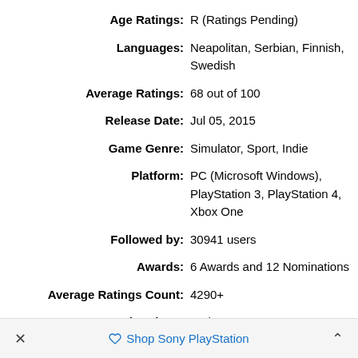Age Ratings: R (Ratings Pending)
Languages: Neapolitan, Serbian, Finnish, Swedish
Average Ratings: 68 out of 100
Release Date: Jul 05, 2015
Game Genre: Simulator, Sport, Indie
Platform: PC (Microsoft Windows), PlayStation 3, PlayStation 4, Xbox One
Followed by: 30941 users
Awards: 6 Awards and 12 Nominations
Average Ratings Count: 4290+
Total Ratings: 71 / 100
× Shop Sony PlayStation ^